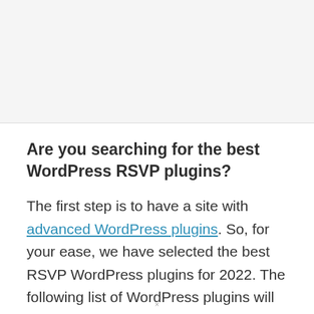[Figure (other): Empty grey upper section of a webpage]
Are you searching for the best WordPress RSVP plugins?
The first step is to have a site with advanced WordPress plugins. So, for your ease, we have selected the best RSVP WordPress plugins for 2022. The following list of WordPress plugins will